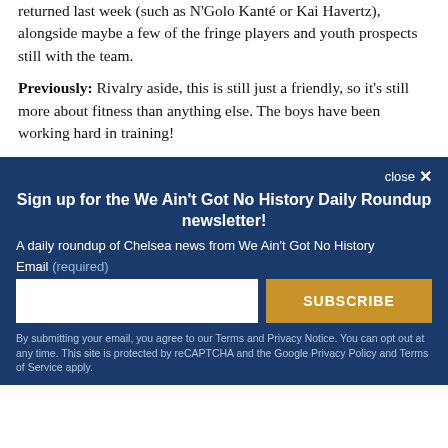returned last week (such as N'Golo Kanté or Kai Havertz), alongside maybe a few of the fringe players and youth prospects still with the team.
Previously: Rivalry aside, this is still just a friendly, so it's still more about fitness than anything else. The boys have been working hard in training!
close ✕
Sign up for the We Ain't Got No History Daily Roundup newsletter!
A daily roundup of Chelsea news from We Ain't Got No History
Email (required)
SUBSCRIBE
By submitting your email, you agree to our Terms and Privacy Notice. You can opt out at any time. This site is protected by reCAPTCHA and the Google Privacy Policy and Terms of Service apply.